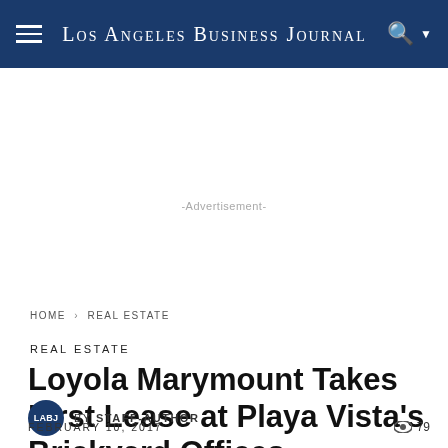Los Angeles Business Journal
-Advertisement-
HOME › REAL ESTATE
REAL ESTATE
Loyola Marymount Takes First Lease at Playa Vista's Brickyard Offices
BY STAFF-AUTHOR
FEBRUARY 10, 2017  79